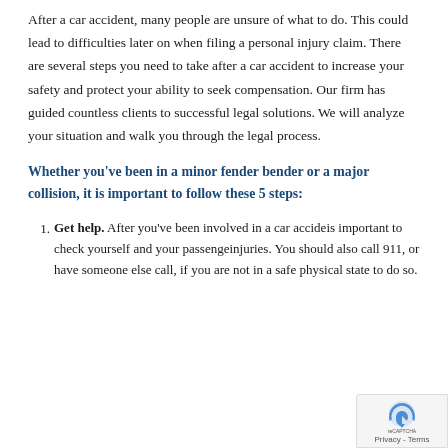After a car accident, many people are unsure of what to do. This could lead to difficulties later on when filing a personal injury claim. There are several steps you need to take after a car accident to increase your safety and protect your ability to seek compensation. Our firm has guided countless clients to successful legal solutions. We will analyze your situation and walk you through the legal process.
Whether you've been in a minor fender bender or a major collision, it is important to follow these 5 steps:
Get help. After you've been involved in a car accident, it is important to check yourself and your passengers for injuries. You should also call 911, or have someone else call, if you are not in a safe physical state to do so.